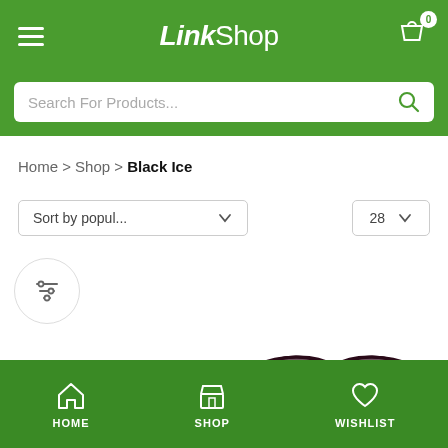LinkShop
Search For Products...
Home > Shop > Black Ice
Sort by popul... | 28
[Figure (screenshot): Two sunglasses product images: left is gold-frame aviator sunglasses with brown lenses, right is dark oversized sunglasses with gradient purple lenses]
HOME  SHOP  WISHLIST